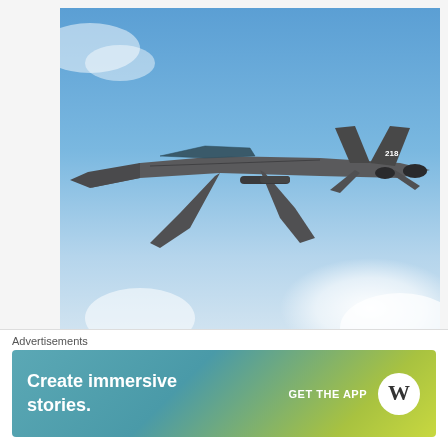[Figure (photo): F-15 Silent Eagle military fighter jet flying against a blue sky with clouds, viewed from above/side angle]
F-15 Silent Eagle
Now, I mentioned that the F-35 will be used as a part of an initial attacking force to gain air superiority and will be followed by conventional aircraft in performing the later missions. But
[Figure (other): WordPress advertisement banner: 'Create immersive stories.' with GET THE APP call to action and WordPress logo]